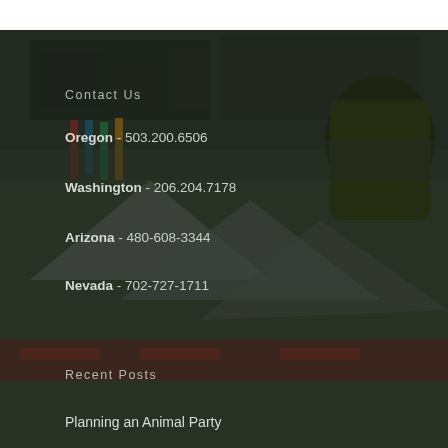[Figure (photo): Outdoor event/sports field scene with crowd, colorful banners, tents, and inflatable decorations in the background, overlaid with a dark semi-transparent layer.]
Contact Us
Oregon - 503.200.6506
Washington - 206.204.7178
Arizona - 480-608-3344
Nevada - 702-727-1711
Recent Posts
Planning an Animal Party